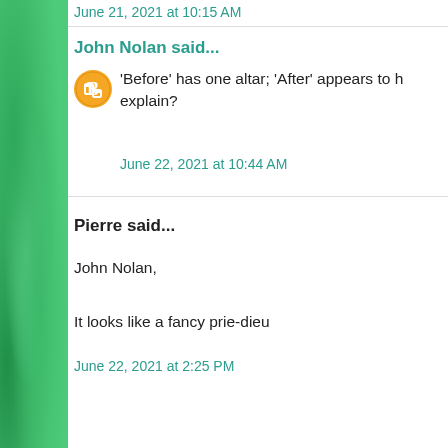June 21, 2021 at 10:15 AM
John Nolan said...
'Before' has one altar; 'After' appears to have two. Can you explain?
June 22, 2021 at 10:44 AM
Pierre said...
John Nolan,
It looks like a fancy prie-dieu
June 22, 2021 at 2:25 PM